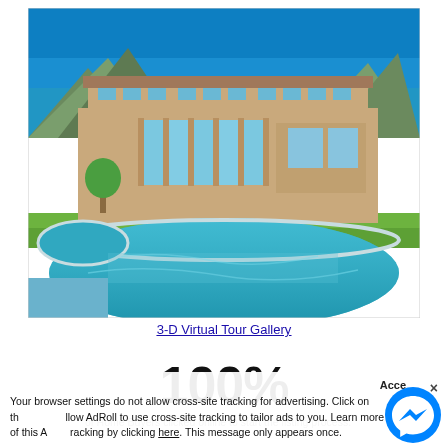[Figure (photo): Luxury house with pool — large modern Mediterranean-style home with blue sky background and turquoise swimming pool in foreground]
3-D Virtual Tour Gallery
100%
Accept × Your browser settings do not allow cross-site tracking for advertising. Click on the to allow AdRoll to use cross-site tracking to tailor ads to you. Learn more or opt out of this A racking by clicking here. This message only appears once.